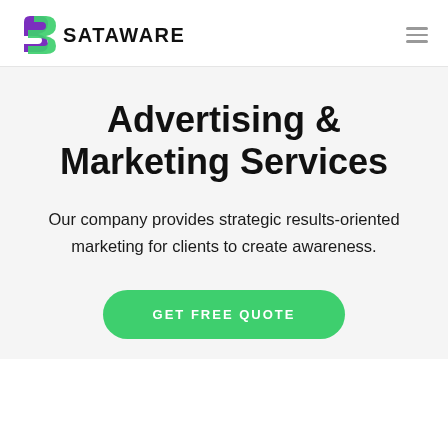[Figure (logo): Sataware logo: stylized 'S' shape in green and purple, followed by bold text 'SATAWARE']
Advertising & Marketing Services
Our company provides strategic results-oriented marketing for clients to create awareness.
GET FREE QUOTE